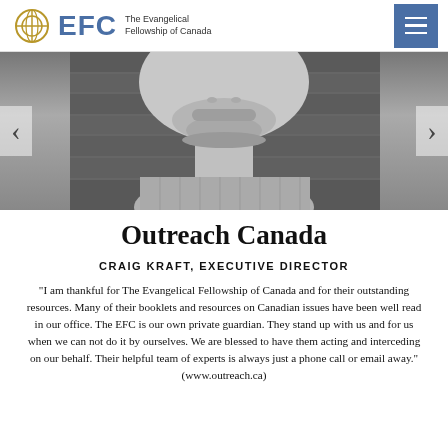EFC The Evangelical Fellowship of Canada
[Figure (photo): Black and white close-up photo of a man with a beard and grey stubble, wearing a checked shirt. Carousel navigation arrows visible on left and right sides.]
Outreach Canada
CRAIG KRAFT, EXECUTIVE DIRECTOR
"I am thankful for The Evangelical Fellowship of Canada and for their outstanding resources. Many of their booklets and resources on Canadian issues have been well read in our office. The EFC is our own private guardian. They stand up with us and for us when we can not do it by ourselves. We are blessed to have them acting and interceding on our behalf. Their helpful team of experts is always just a phone call or email away." (www.outreach.ca)